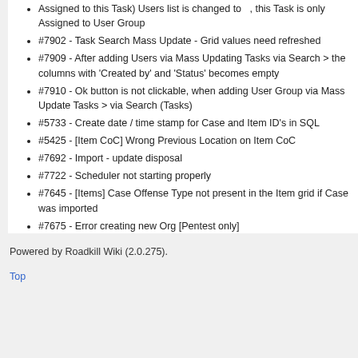Assigned to this Task) Users list is changed to  , this Task is only Assigned to User Group
#7902 - Task Search Mass Update - Grid values need refreshed
#7909 - After adding Users via Mass Updating Tasks via Search > the columns with 'Created by' and 'Status' becomes empty
#7910 - Ok button is not clickable, when adding User Group via Mass Update Tasks > via Search (Tasks)
#5733 - Create date / time stamp for Case and Item ID's in SQL
#5425 - [Item CoC] Wrong Previous Location on Item CoC
#7692 - Import - update disposal
#7722 - Scheduler not starting properly
#7645 - [Items] Case Offense Type not present in the Item grid if Case was imported
#7675 - Error creating new Org [Pentest only]
Powered by Roadkill Wiki (2.0.275).
Top